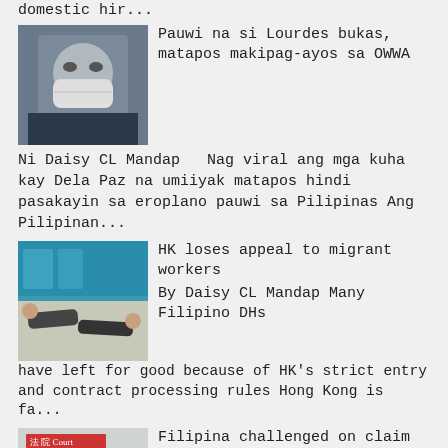domestic hir...
[Figure (photo): Woman wearing a face mask, partial face visible]
Pauwi na si Lourdes bukas, matapos makipag-ayos sa OWWA
Ni Daisy CL Mandap   Nag viral ang mga kuha kay Dela Paz na umiiyak matapos hindi pasakayin sa eroplano pauwi sa Pilipinas Ang Pilipinan...
[Figure (photo): People lying or resting on the floor, migrant workers scene]
HK loses appeal to migrant workers
By Daisy CL Mandap   Many Filipino DHs have left for good because of HK's strict entry and contract processing rules Hong Kong is fa...
[Figure (photo): Building exterior with Chinese characters signage]
Filipina challenged on claim her male employer had raped her with wife's help
By The SUN   The alleged rape will be heard for 10 days at the High Court A Filipina domestic...